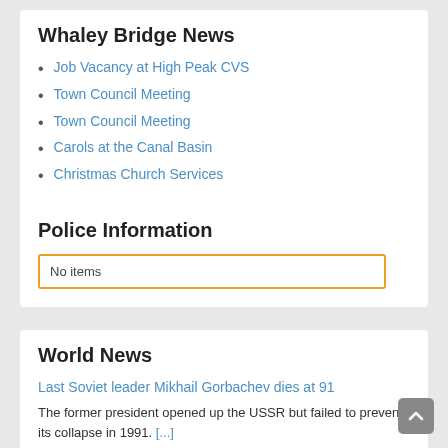Whaley Bridge News
Job Vacancy at High Peak CVS
Town Council Meeting
Town Council Meeting
Carols at the Canal Basin
Christmas Church Services
Police Information
No items
World News
Last Soviet leader Mikhail Gorbachev dies at 91
The former president opened up the USSR but failed to prevent its collapse in 1991. [...]